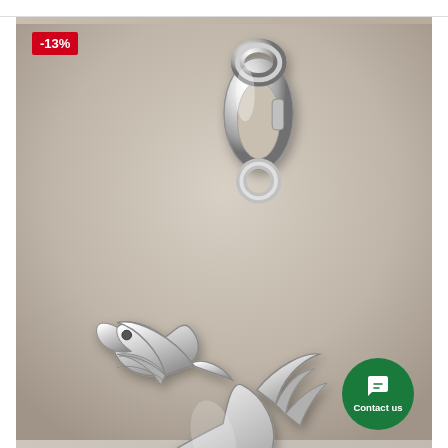[Figure (photo): Silver dragon charm with lobster clasp. The charm depicts a Welsh dragon rendered in polished sterling silver, shown hanging from a silver lobster claw clasp via a small jump ring. The background is a warm beige/taupe gradient.]
-13%
Contact us